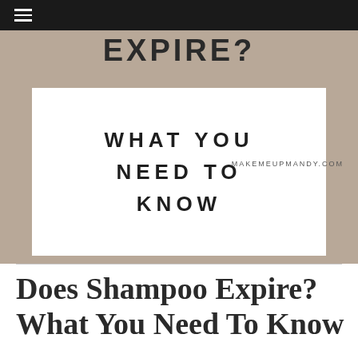≡
[Figure (photo): Blog post hero image showing text 'EXPIRE?' at the top and a white overlay box with bold spaced text 'WHAT YOU NEED TO KNOW' centered on a gray/taupe textured background, with watermark MAKEMEUPMANDY.COM]
Does Shampoo Expire? What You Need To Know